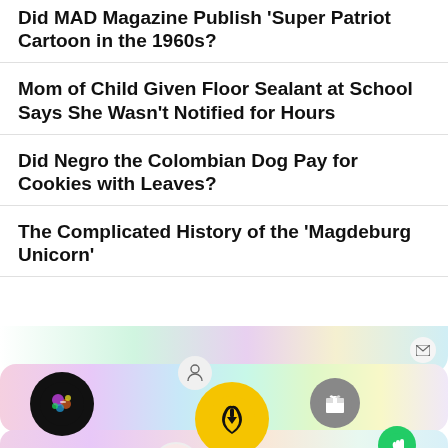Did MAD Magazine Publish 'Super Patriot Cartoon in the 1960s?
Mom of Child Given Floor Sealant at School Says She Wasn't Notified for Hours
Did Negro the Colombian Dog Pay for Cookies with Leaves?
The Complicated History of the 'Magdeburg Unicorn'
[Figure (screenshot): Colorful gradient UI banners with circular icons including a black circle with illustrated character, yellow circle with road/navigation icon, gray circle with gift icon, green circle with hand icon, and partial bottom banner with heart icon. Also includes small envelope, person, and star icons.]